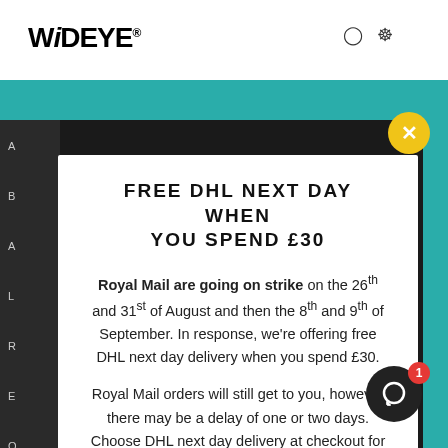[Figure (logo): WiDEYE brand logo in bold black text]
FREE DHL NEXT DAY WHEN YOU SPEND £30
Royal Mail are going on strike on the 26th and 31st of August and then the 8th and 9th of September. In response, we're offering free DHL next day delivery when you spend £30.
Royal Mail orders will still get to you, however there may be a delay of one or two days. Choose DHL next day delivery at checkout for faster delivery times.